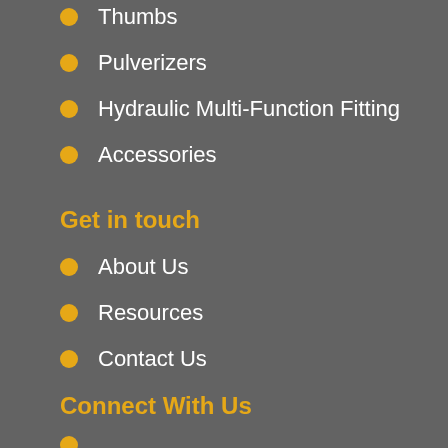Thumbs
Pulverizers
Hydraulic Multi-Function Fitting
Accessories
Get in touch
About Us
Resources
Contact Us
Connect With Us
YouTube
LinkedIn